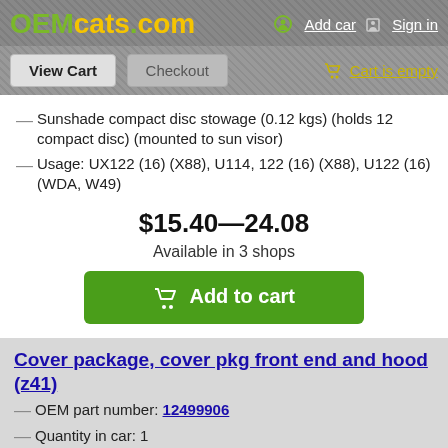OEMcats.com  Add car  Sign in
View Cart  Checkout  Cart is empty
Sunshade compact disc stowage (0.12 kgs) (holds 12 compact disc) (mounted to sun visor)
Usage: UX122 (16) (X88), U114, 122 (16) (X88), U122 (16) (WDA, W49)
$15.40—24.08
Available in 3 shops
Add to cart
Cover package, cover pkg front end and hood (z41)
OEM part number: 12499906
Quantity in car: 1